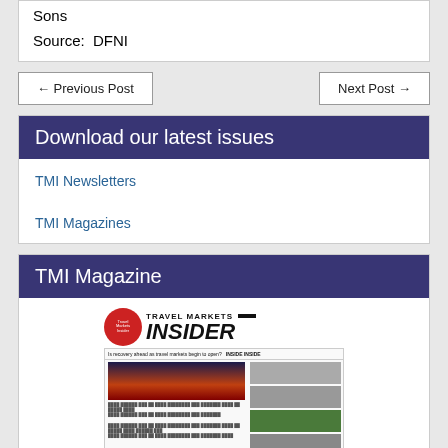Sons

Source:  DFNI
← Previous Post
Next Post →
Download our latest issues
TMI Newsletters
TMI Magazines
TMI Magazine
[Figure (illustration): Cover of Travel Markets Insider magazine showing a sunset landscape photo and several thumbnail images]